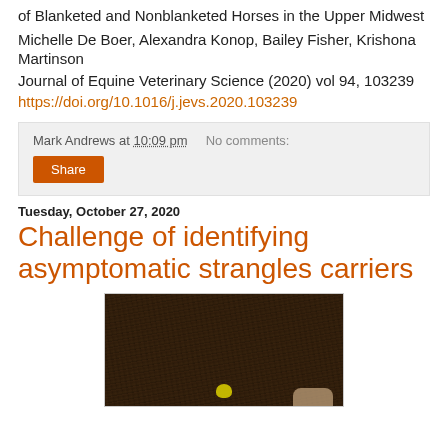of Blanketed and Nonblanketed Horses in the Upper Midwest
Michelle De Boer, Alexandra Konop, Bailey Fisher, Krishona Martinson
Journal of Equine Veterinary Science (2020) vol 94, 103239
https://doi.org/10.1016/j.jevs.2020.103239
Mark Andrews at 10:09 pm   No comments:
Share
Tuesday, October 27, 2020
Challenge of identifying asymptomatic strangles carriers
[Figure (photo): Close-up photo of dark brown horse fur with a yellow dot visible, and a partial view of a human hand or fingers at the bottom]